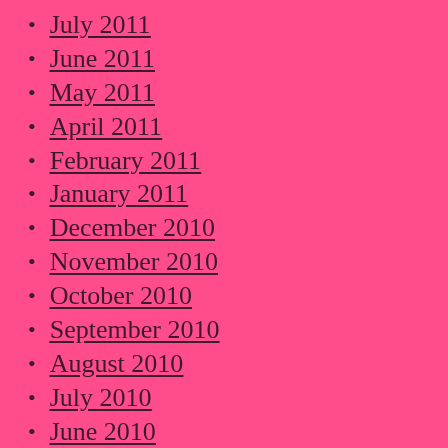July 2011
June 2011
May 2011
April 2011
February 2011
January 2011
December 2010
November 2010
October 2010
September 2010
August 2010
July 2010
June 2010
May 2010
April 2010
March 2010
February 2010